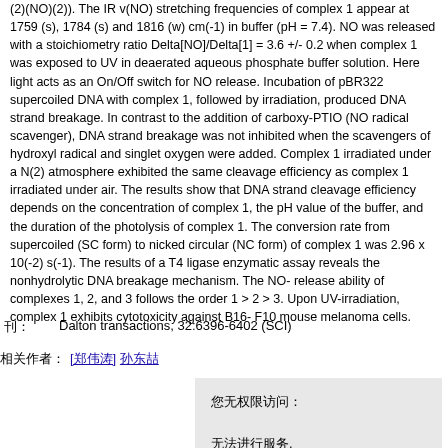(2)(NO)(2)). The IR v(NO) stretching frequencies of complex 1 appear at 1759 (s), 1784 (s) and 1816 (w) cm(-1) in buffer (pH = 7.4). NO was released with a stoichiometry ratio Delta[NO]/Delta[1] = 3.6 +/- 0.2 when complex 1 was exposed to UV in deaerated aqueous phosphate buffer solution. Here light acts as an On/Off switch for NO release. Incubation of pBR322 supercoiled DNA with complex 1, followed by irradiation, produced DNA strand breakage. In contrast to the addition of carboxy-PTIO (NO radical scavenger), DNA strand breakage was not inhibited when the scavengers of hydroxyl radical and singlet oxygen were added. Complex 1 irradiated under a N(2) atmosphere exhibited the same cleavage efficiency as complex 1 irradiated under air. The results show that DNA strand cleavage efficiency depends on the concentration of complex 1, the pH value of the buffer, and the duration of the photolysis of complex 1. The conversion rate from supercoiled (SC form) to nicked circular (NC form) of complex 1 was 2.96 x 10(-2) s(-1). The results of a T4 ligase enzymatic assay reveals the nonhydrolytic DNA breakage mechanism. The NO-release ability of complexes 1, 2, and 3 follows the order 1 > 2 > 3. Upon UV-irradiation, complex 1 exhibits cytotoxicity against B16-F10 mouse melanoma cells.
刊: Dalton transactions, 32:6396-6402 (SCI)
相关作者: [郑伟涛] 孙东喆
您无权限访问: 无法进行服务.